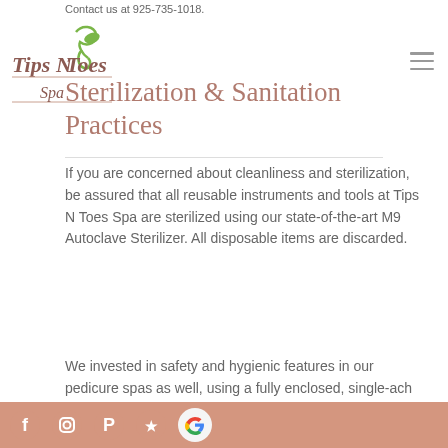Contact us at 925-735-1018.
[Figure (logo): Tips N Toes Spa logo with green leaf and brown/mauve text]
Sterilization & Sanitation Practices
If you are concerned about cleanliness and sterilization, be assured that all reusable instruments and tools at Tips N Toes Spa are sterilized using our state-of-the-art M9 Autoclave Sterilizer. All disposable items are discarded.
We invested in safety and hygienic features in our pedicure spas as well, using a fully enclosed, single- ach foot bath for your
Social media icons: Facebook, Instagram, Pinterest, Yelp, Google